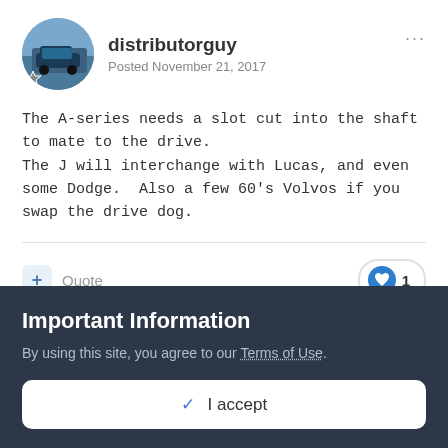distributorguy
Posted November 21, 2017
The A-series needs a slot cut into the shaft to mate to the drive.
The J will interchange with Lucas, and even some Dodge.  Also a few 60's Volvos if you swap the drive dog.
Quote
1
Charlie69
Important Information
By using this site, you agree to our Terms of Use.
✓ I accept